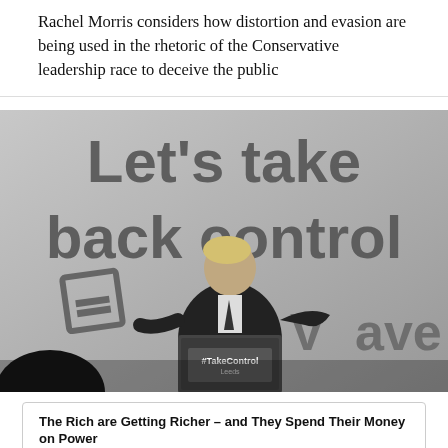Rachel Morris considers how distortion and evasion are being used in the rhetoric of the Conservative leadership race to deceive the public
[Figure (photo): Black and white photograph of a man in a suit speaking at a podium with '#TakeControl Leeds' sign, in front of a large banner reading 'Let's take back control' with a Vote Leave logo partially visible.]
The Rich are Getting Richer – and They Spend Their Money on Power